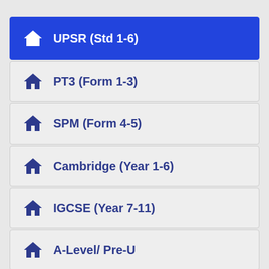UPSR (Std 1-6)
PT3 (Form 1-3)
SPM (Form 4-5)
Cambridge (Year 1-6)
IGCSE (Year 7-11)
A-Level/ Pre-U
Diploma/ Degree